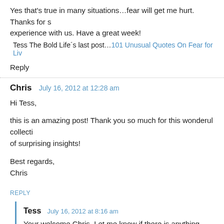Yes that's true in many situations…fear will get me hurt. Thanks for sharing your experience with us. Have a great week!
Tess The Bold Life´s last post…101 Unusual Quotes On Fear for Liv
Reply
Chris   July 16, 2012 at 12:28 am
Hi Tess,

this is an amazing post! Thank you so much for this wonderul collecti… of surprising insights!

Best regards,
Chris
REPLY
Tess   July 16, 2012 at 8:16 am
Your welcome Chris. Let me know if there is anything else I can d…